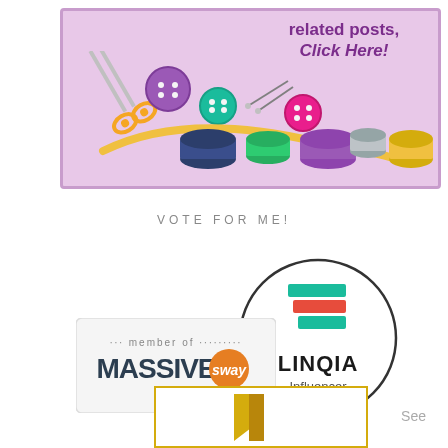[Figure (illustration): Sewing themed banner with colorful scissors, thread spools, buttons, needles and measuring tape on a purple/lavender background with text 'related posts, Click Here!']
VOTE FOR ME!
[Figure (logo): LINQIA Influencer circular logo with teal and orange layered document icon]
[Figure (logo): Member of MASSIVE sway badge]
See
[Figure (logo): Yellow bordered badge with gold star/arrow icon at the bottom]